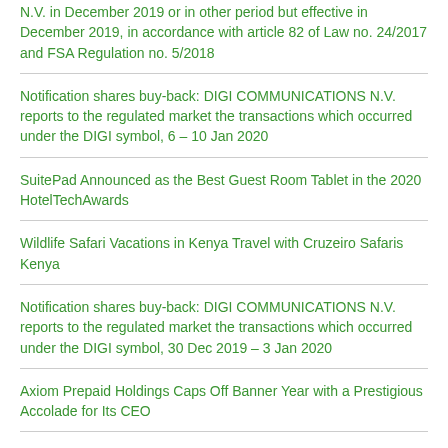N.V. in December 2019 or in other period but effective in December 2019, in accordance with article 82 of Law no. 24/2017 and FSA Regulation no. 5/2018
Notification shares buy-back: DIGI COMMUNICATIONS N.V. reports to the regulated market the transactions which occurred under the DIGI symbol, 6 – 10 Jan 2020
SuitePad Announced as the Best Guest Room Tablet in the 2020 HotelTechAwards
Wildlife Safari Vacations in Kenya Travel with Cruzeiro Safaris Kenya
Notification shares buy-back: DIGI COMMUNICATIONS N.V. reports to the regulated market the transactions which occurred under the DIGI symbol, 30 Dec 2019 – 3 Jan 2020
Axiom Prepaid Holdings Caps Off Banner Year with a Prestigious Accolade for Its CEO
Notification shares buy-back: DIGI COMMUNICATIONS N.V. reports